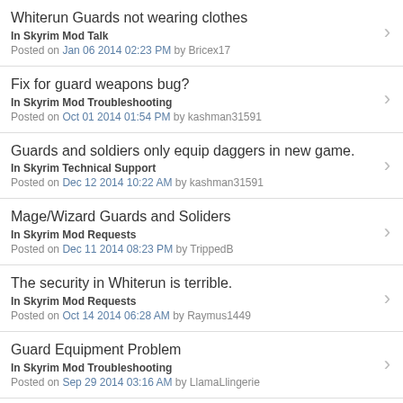Whiterun Guards not wearing clothes
In Skyrim Mod Talk
Posted on Jan 06 2014 02:23 PM by Bricex17
Fix for guard weapons bug?
In Skyrim Mod Troubleshooting
Posted on Oct 01 2014 01:54 PM by kashman31591
Guards and soldiers only equip daggers in new game.
In Skyrim Technical Support
Posted on Dec 12 2014 10:22 AM by kashman31591
Mage/Wizard Guards and Soliders
In Skyrim Mod Requests
Posted on Dec 11 2014 08:23 PM by TrippedB
The security in Whiterun is terrible.
In Skyrim Mod Requests
Posted on Oct 14 2014 06:28 AM by Raymus1449
Guard Equipment Problem
In Skyrim Mod Troubleshooting
Posted on Sep 29 2014 03:16 AM by LlamaLlingerie
Best way to deal with guard dialogue?
In Skyrim Mod Talk